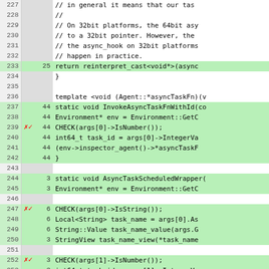[Figure (screenshot): Code coverage view showing C++ source code with line numbers, coverage hit counts, coverage markers (red X and checkmark), and green/gray highlighted lines indicating covered/uncovered code regions.]